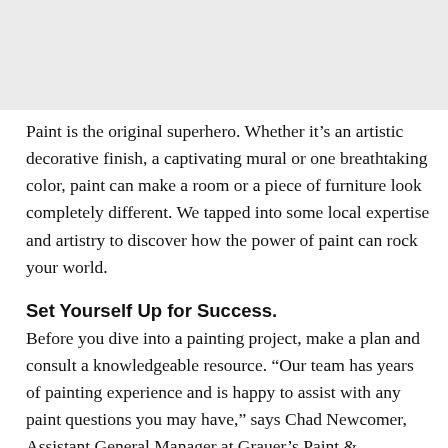[Figure (photo): Gray placeholder image at top of page]
Paint is the original superhero. Whether it’s an artistic decorative finish, a captivating mural or one breathtaking color, paint can make a room or a piece of furniture look completely different. We tapped into some local expertise and artistry to discover how the power of paint can rock your world.
Set Yourself Up for Success.
Before you dive into a painting project, make a plan and consult a knowledgeable resource. “Our team has years of painting experience and is happy to assist with any paint questions you may have,” says Chad Newcomer, Assistant General Manager at Grauer’s Paint & Decorating.